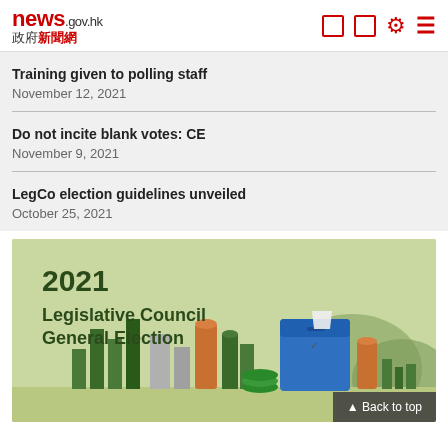news.gov.hk 政府新聞網
Training given to polling staff — November 12, 2021
Do not incite blank votes: CE — November 9, 2021
LegCo election guidelines unveiled — October 25, 2021
[Figure (illustration): 2021 Legislative Council General Election promotional image showing a stylized city skyline with a blue ballot box, green buildings, and mountains on a light green background.]